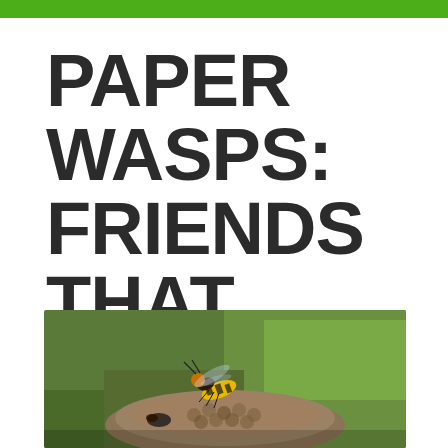PAPER WASPS: FRIENDS THAT STING
by University Termite | May 15, 2021 | Pest Solutions
[Figure (photo): Close-up photograph of a paper wasp on a wasp nest, with blurred green background]